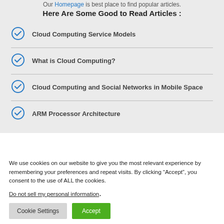Our Homepage is best place to find popular articles.
Here Are Some Good to Read Articles :
Cloud Computing Service Models
What is Cloud Computing?
Cloud Computing and Social Networks in Mobile Space
ARM Processor Architecture
We use cookies on our website to give you the most relevant experience by remembering your preferences and repeat visits. By clicking “Accept”, you consent to the use of ALL the cookies.
Do not sell my personal information.
Cookie Settings | Accept